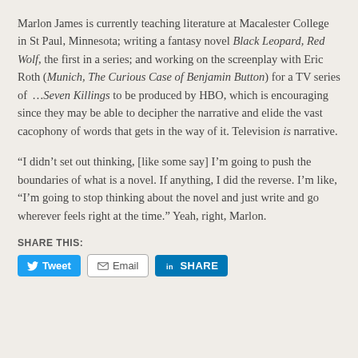Marlon James is currently teaching literature at Macalester College in St Paul, Minnesota; writing a fantasy novel Black Leopard, Red Wolf, the first in a series; and working on the screenplay with Eric Roth (Munich, The Curious Case of Benjamin Button) for a TV series of …Seven Killings to be produced by HBO, which is encouraging since they may be able to decipher the narrative and elide the vast cacophony of words that gets in the way of it. Television is narrative.
“I didn’t set out thinking, [like some say] I’m going to push the boundaries of what is a novel. If anything, I did the reverse. I’m like, “I’m going to stop thinking about the novel and just write and go wherever feels right at the time.” Yeah, right, Marlon.
SHARE THIS:
[Figure (other): Social share buttons: Tweet (Twitter), Email, and LinkedIn Share]